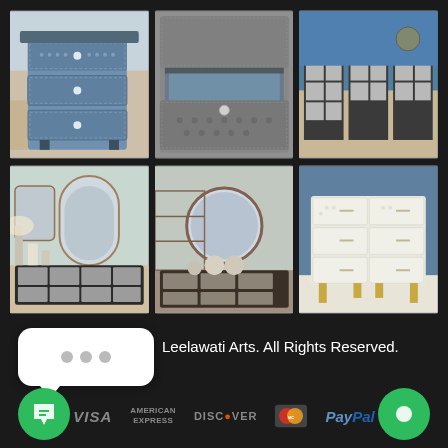[Figure (photo): Six photos of bone inlay furniture pieces arranged in a 3x2 grid on dark background. Top row: blue/grey bone inlay chest of drawers in room setting; close-up of open drawer with intricate bone inlay pattern; showroom with multiple black and white bone inlay cabinets. Bottom row: showroom with ornate mirrors and bone inlay sideboards; another showroom angle with round mirror and bone inlay dresser; white/cream bone inlay six-drawer dresser on gold legs.]
Leelawati Arts. All Rights Reserved.
[Figure (logo): Payment method logos: VISA, AMERICAN EXPRESS, DISCOVER, Mastercard, PayPal displayed in a row]
[Figure (illustration): Chat bubble icon with three dots (left bottom corner green circle button with chat icon) and another green circle button on the right bottom corner]